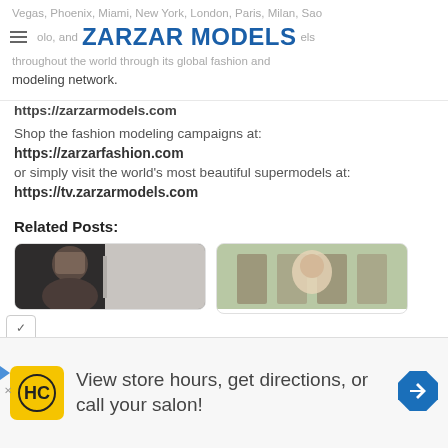Vegas, Phoenix, Miami, New York, London, Paris, Milan, Sao Paolo, and ZARZAR MODELS models throughout the world through its global fashion and modeling network.
modeling network.
https://zarzarmodels.com
Shop the fashion modeling campaigns at:
https://zarzarfashion.com
or simply visit the world's most beautiful supermodels at:
https://tv.zarzarmodels.com
Related Posts:
[Figure (photo): Related post thumbnail 1: dark-haired woman portrait photo]
[Figure (photo): Related post thumbnail 2: woman with floral crown in outdoor setting]
View store hours, get directions, or call your salon!